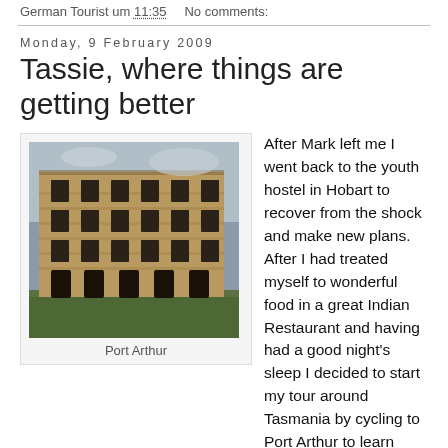German Tourist um 11:35   No comments:
Monday, 9 February 2009
Tassie, where things are getting better
[Figure (photo): Photograph of historic stone building ruins at Port Arthur, Tasmania. Multi-storey sandstone structure with empty window openings, set against a grey sky with green grass in foreground.]
Port Arthur
After Mark left me I went back to the youth hostel in Hobart to recover from the shock and make new plans. After I had treated myself to wonderful food in a great Indian Restaurant and having had a good night's sleep I decided to start my tour around Tasmania by cycling to Port Arthur to learn about Australian convict history. I really liked historic Port Arthur, but was still not too enthusiastic about cycling. Everything seemed to be so difficult: Getting water, finding campsites, dealing with the weather - I did not feel in my element.